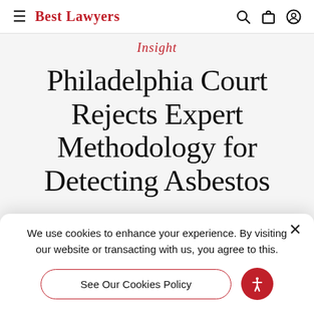Best Lawyers
Insight
Philadelphia Court Rejects Expert Methodology for Detecting Asbestos
We use cookies to enhance your experience. By visiting our website or transacting with us, you agree to this.
See Our Cookies Policy